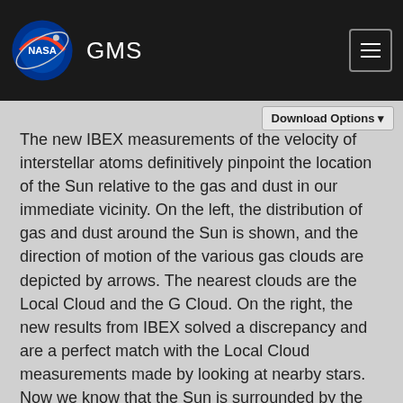GMS
The new IBEX measurements of the velocity of interstellar atoms definitively pinpoint the location of the Sun relative to the gas and dust in our immediate vicinity. On the left, the distribution of gas and dust around the Sun is shown, and the direction of motion of the various gas clouds are depicted by arrows. The nearest clouds are the Local Cloud and the G Cloud. On the right, the new results from IBEX solved a discrepancy and are a perfect match with the Local Cloud measurements made by looking at nearby stars. Now we know that the Sun is surrounded by the Local Cloud, while being very close to its edge.
Credit: NASA/GSFC/Adler/U. Chicago/Wesleyan